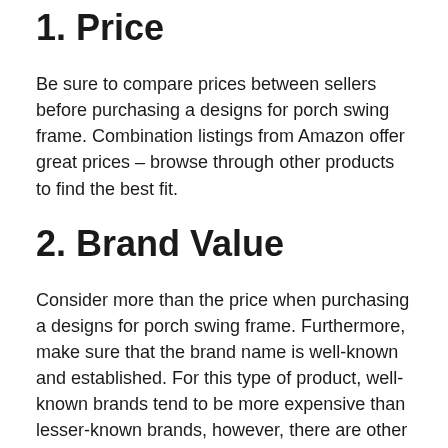1. Price
Be sure to compare prices between sellers before purchasing a designs for porch swing frame. Combination listings from Amazon offer great prices – browse through other products to find the best fit.
2. Brand Value
Consider more than the price when purchasing a designs for porch swing frame. Furthermore, make sure that the brand name is well-known and established. For this type of product, well-known brands tend to be more expensive than lesser-known brands, however, there are other factors to take into consideration, such as durability and